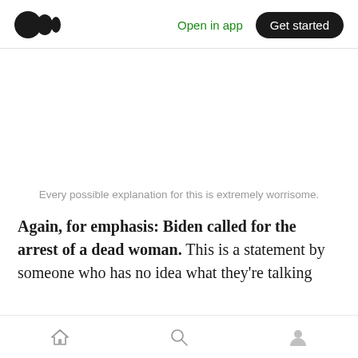Medium logo | Open in app | Get started
Every possible explanation for this is extremely worrisome.
Again, for emphasis: Biden called for the arrest of a dead woman. This is a statement by someone who has no idea what they're talking
Home | Search | Profile